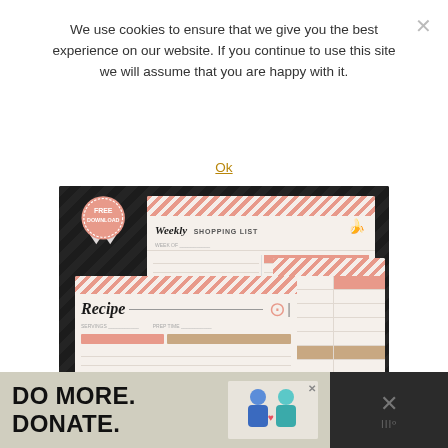We use cookies to ensure that we give you the best experience on our website. If you continue to use this site we will assume that you are happy with it.
Ok
[Figure (illustration): A promotional image on a dark background showing printable meal planning and recipe templates including: a Weekly Shopping List card, a Recipe card, a Monthly Meal Plan card, and smaller recipe cards. A 'FREE DOWNLOAD' badge is shown in the top-left.]
[Figure (infographic): Advertisement banner at the bottom reading 'DO MORE. DONATE.' with images of people and an X close button.]